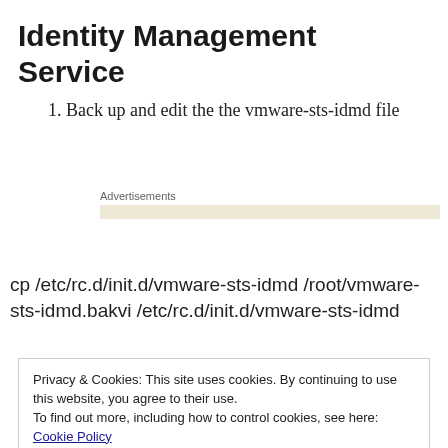Identity Management Service
1. Back up and edit the the vmware-sts-idmd file
Advertisements
cp /etc/rc.d/init.d/vmware-sts-idmd /root/vmware-sts-idmd.bakvi /etc/rc.d/init.d/vmware-sts-idmd
Privacy & Cookies: This site uses cookies. By continuing to use this website, you agree to their use.
To find out more, including how to control cookies, see here: Cookie Policy
Close and accept